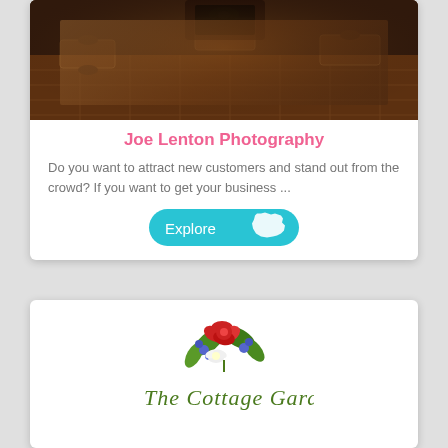[Figure (photo): Interior of a restaurant with wooden tables, stools, and decorative tiled floor in warm lighting]
Joe Lenton Photography
Do you want to attract new customers and stand out from the crowd? If you want to get your business ...
[Figure (illustration): Explore button with a white Iowa state silhouette icon on a cyan/turquoise rounded button]
[Figure (logo): Floral arrangement logo with red, white and blue flowers and green leaves above a green cursive script text partially visible at bottom of card]